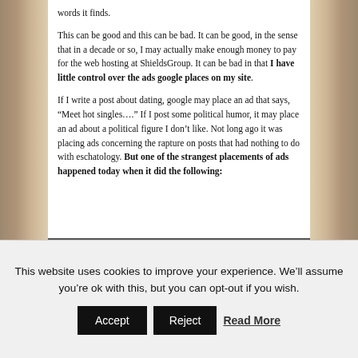words it finds.

This can be good and this can be bad. It can be good, in the sense that in a decade or so, I may actually make enough money to pay for the web hosting at ShieldsGroup. It can be bad in that I have little control over the ads google places on my site.

If I write a post about dating, google may place an ad that says, “Meet hot singles….” If I post some political humor, it may place an ad about a political figure I don’t like. Not long ago it was placing ads concerning the rapture on posts that had nothing to do with eschatology. But one of the strangest placements of ads happened today when it did the following:
[Figure (screenshot): Partial screenshot of an image preview, cropped at the bottom of the content area]
This website uses cookies to improve your experience. We’ll assume you’re ok with this, but you can opt-out if you wish.
Accept   Reject   Read More